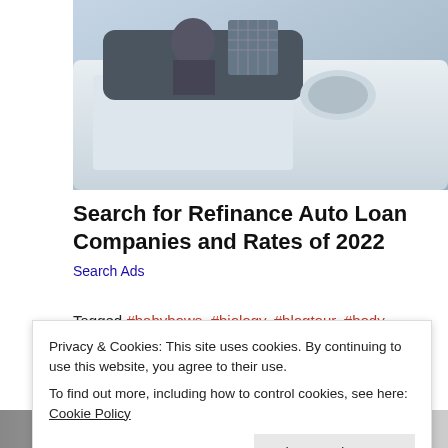[Figure (photo): Photo of a white car, partial view showing side mirror and door, with a person partially visible inside]
Search for Refinance Auto Loan Companies and Rates of 2022
Search Ads
Tagged #babybows, #biology, #blogtour, #body, #bogies, #bookblogger, #bookreview, #bookshine, #childrensbooks, #humanbody, #middlegrade, #minishine, #RachelsRandomResources, #science      Leave a comment
Privacy & Cookies: This site uses cookies. By continuing to use this website, you agree to their use.
To find out more, including how to control cookies, see here: Cookie Policy
Close and accept
[Figure (photo): Partial bottom photo strip with Twoladiesandabook label]